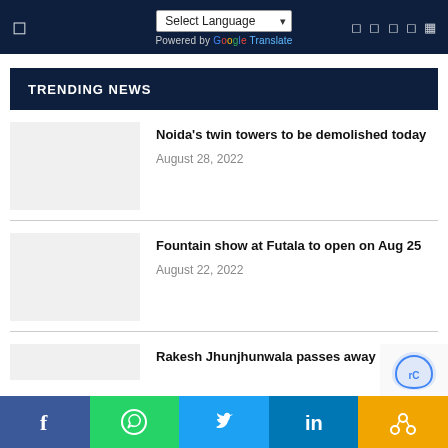Select Language | Powered by Google Translate
TRENDING NEWS
[Figure (photo): Thumbnail placeholder for Noida twin towers article]
Noida's twin towers to be demolished today
August 28, 2022
[Figure (photo): Thumbnail placeholder for Fountain show article]
Fountain show at Futala to open on Aug 25
August 22, 2022
Rakesh Jhunjhunwala passes away
Facebook | WhatsApp | Twitter | LinkedIn | Link